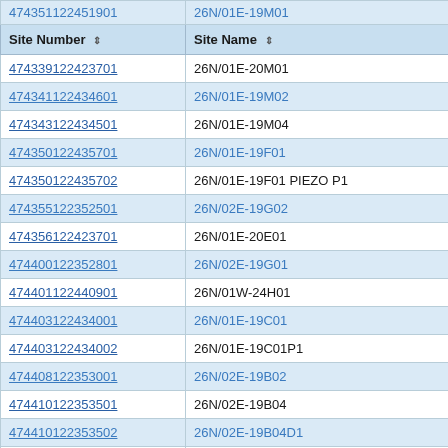| Site Number | Site Name |
| --- | --- |
| 474339122423701 | 26N/01E-20M01 |
| 474341122434601 | 26N/01E-19M02 |
| 474343122434501 | 26N/01E-19M04 |
| 474350122435701 | 26N/01E-19F01 |
| 474350122435702 | 26N/01E-19F01 PIEZO P1 |
| 474355122352501 | 26N/02E-19G02 |
| 474356122423701 | 26N/01E-20E01 |
| 474400122352801 | 26N/02E-19G01 |
| 474401122440901 | 26N/01W-24H01 |
| 474403122434001 | 26N/01E-19C01 |
| 474403122434002 | 26N/01E-19C01P1 |
| 474408122353001 | 26N/02E-19B02 |
| 474410122353501 | 26N/02E-19B04 |
| 474410122353502 | 26N/02E-19B04D1 |
| 474411122440001 | 26N/01E-19D01 |